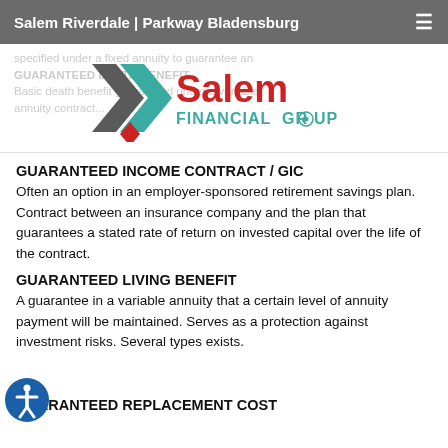Salem Riverdale | Parkway Bladensburg
[Figure (logo): Salem Financial Group logo with geometric angular chevron-like symbol in teal/dark gray and red diamond, with 'Salem' in red and 'FINANCIAL GROUP' in teal]
GUARANTEED INCOME CONTRACT / GIC
Often an option in an employer-sponsored retirement savings plan. Contract between an insurance company and the plan that guarantees a stated rate of return on invested capital over the life of the contract.
GUARANTEED LIVING BENEFIT
A guarantee in a variable annuity that a certain level of annuity payment will be maintained. Serves as a protection against investment risks. Several types exists.
GUARANTEED REPLACEMENT COST